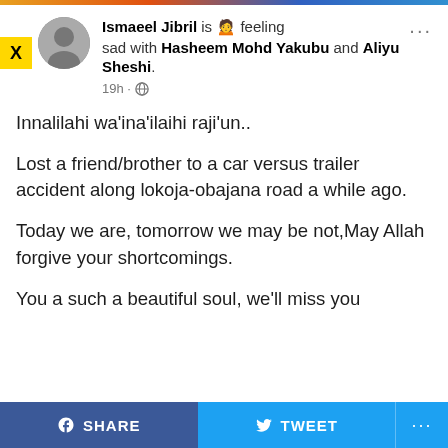[Figure (screenshot): Facebook post screenshot. User 'Ismaeel Jibril' is feeling sad with 'Hasheem Mohd Yakubu' and 'Aliyu Sheshi'. Posted 19h ago. Text: Innalilahi wa'ina'ilaihi raji'un.. Lost a friend/brother to a car versus trailer accident along lokoja-obajana road a while ago. Today we are, tomorrow we may be not, May Allah forgive your shortcomings. You a such a beautiful soul, we'll miss you. Share and Tweet buttons at bottom.]